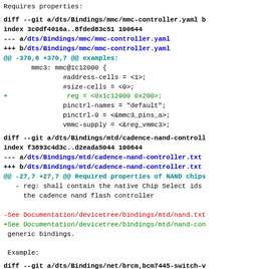Requires properties:
diff --git a/dts/Bindings/mmc/mmc-controller.yaml b/...
index 3c0df4016a..8fded83c51 100644
--- a/dts/Bindings/mmc/mmc-controller.yaml
+++ b/dts/Bindings/mmc/mmc-controller.yaml
@@ -370,6 +370,7 @@ examples:
        mmc3: mmc@1c12000 {
                #address-cells = <1>;
                #size-cells = <0>;
+               reg = <0x1c12000 0x200>;
                pinctrl-names = "default";
                pinctrl-0 = <&mmc3_pins_a>;
                vmmc-supply = <&reg_vmmc3>;
diff --git a/dts/Bindings/mtd/cadence-nand-controll...
index f3893c4d3c..d2eada5044 100644
--- a/dts/Bindings/mtd/cadence-nand-controller.txt
+++ b/dts/Bindings/mtd/cadence-nand-controller.txt
@@ -27,7 +27,7 @@ Required properties of NAND chips...
   - reg: shall contain the native Chip Select ids
     the cadence nand flash controller

-See Documentation/devicetree/bindings/mtd/nand.txt...
+See Documentation/devicetree/bindings/mtd/nand-con...
 generic bindings.

 Example:
diff --git a/dts/Bindings/net/brcm,bcm7445-switch-v...